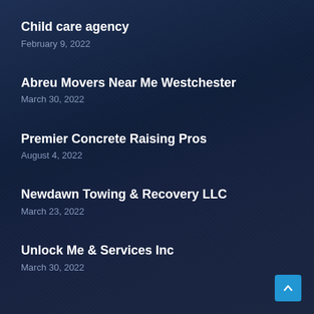Child care agency
February 9, 2022
Abreu Movers Near Me Westchester
March 30, 2022
Premier Concrete Raising Pros
August 4, 2022
Newdawn Towing & Recovery LLC
March 23, 2022
Unlock Me & Services Inc
March 30, 2022